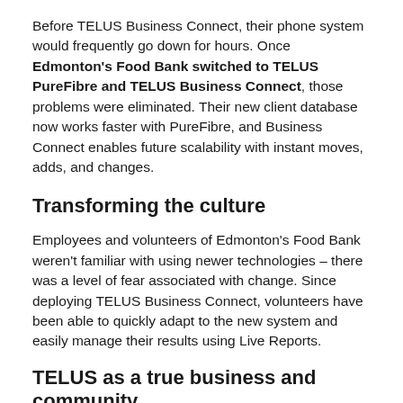Before TELUS Business Connect, their phone system would frequently go down for hours. Once Edmonton's Food Bank switched to TELUS PureFibre and TELUS Business Connect, those problems were eliminated. Their new client database now works faster with PureFibre, and Business Connect enables future scalability with instant moves, adds, and changes.
Transforming the culture
Employees and volunteers of Edmonton's Food Bank weren't familiar with using newer technologies – there was a level of fear associated with change. Since deploying TELUS Business Connect, volunteers have been able to quickly adapt to the new system and easily manage their results using Live Reports.
TELUS as a true business and community